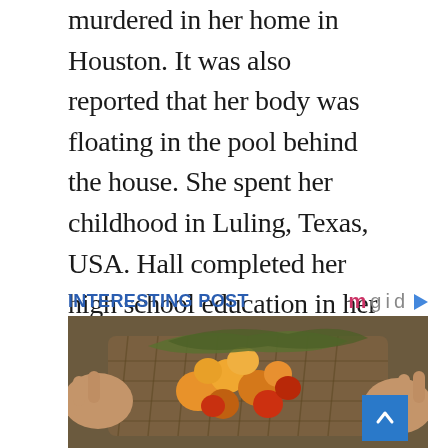murdered in her home in Houston. It was also reported that her body was floating in the pool behind the house. She spent her childhood in Luling, Texas, USA. Hall completed her high school education in her hometown. After graduation, she attended Temple University and earned her Bachelor of Arts in broadcast journalism.
INTERESTING POST
[Figure (photo): Hands holding a wicker basket filled with palm oil fruits (orange and red), with plant material visible]